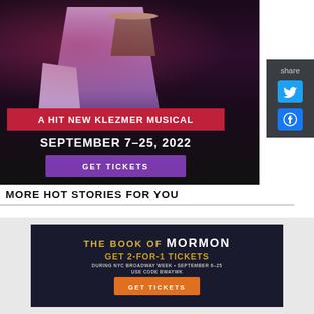[Figure (illustration): Advertisement for a Klezmer musical. Shows a performer in a purple/lavender coat with a red banner reading 'A HIT NEW KLEZMER MUSICAL', dates 'SEPTEMBER 7-25, 2022', and a purple 'GET TICKETS' button. Dark theatrical background.]
[Figure (infographic): Share panel on the right side with Twitter bird icon and Facebook icon, labeled 'share' at top.]
MORE HOT STORIES FOR YOU
[Figure (illustration): Advertisement for The Book of Mormon Broadway show. Gold starburst decorations on sides, text 'THE BOOK OF MORMON', 'GET 2-FOR-1 TICKETS', 'DURING NYC BROADWAY WEEK • SEPTEMBER 6-25', 'USE CODE BWAYWK', orange 'GET TICKETS' button.]